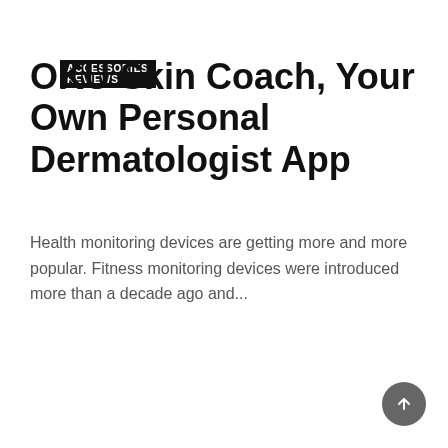ACCESSORIES REVIEWS
OKU Skin Coach, Your Own Personal Dermatologist App
Health monitoring devices are getting more and more popular. Fitness monitoring devices were introduced more than a decade ago and...